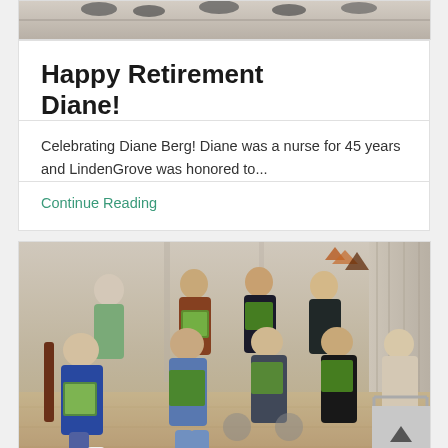[Figure (photo): Top partial photo of people in a room, cropped at top of page]
Happy Retirement Diane!
Celebrating Diane Berg! Diane was a nurse for 45 years and LindenGrove was honored to...
Continue Reading
[Figure (photo): Group photo of approximately 8 people in a senior living facility common room, several holding colorful artwork/paintings. Fall decorations visible in background.]